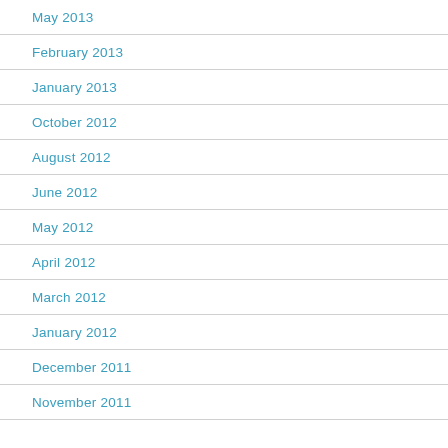May 2013
February 2013
January 2013
October 2012
August 2012
June 2012
May 2012
April 2012
March 2012
January 2012
December 2011
November 2011